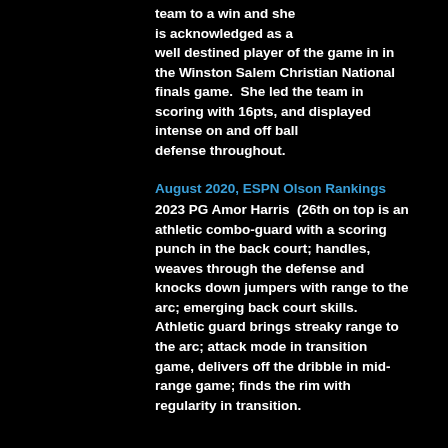team to a win and she is acknowledged as a well destined player of the game in in the Winston Salem Christian National finals game.  She led the team in scoring with 16pts, and displayed intense on and off ball defense throughout.
August 2020, ESPN Olson Rankings
2023 PG Amor Harris  (26th on top is an athletic combo-guard with a scoring punch in the back court; handles, weaves through the defense and knocks down jumpers with range to the arc; emerging back court skills. Athletic guard brings streaky range to the arc; attack mode in transition game, delivers off the dribble in mid-range game; finds the rim with regularity in transition.